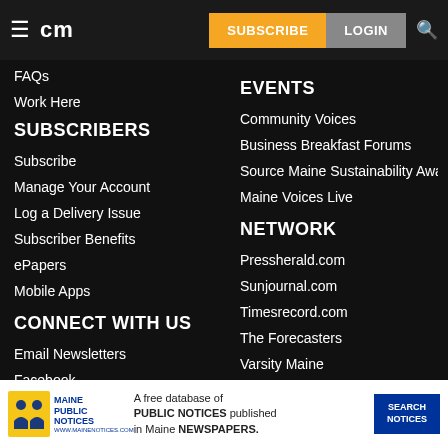cm | SUBSCRIBE | LOGIN
FAQs
Work Here
SUBSCRIBERS
Subscribe
Manage Your Account
Log a Delivery Issue
Subscriber Benefits
ePapers
Mobile Apps
CONNECT WITH US
Email Newsletters
Facebook
Twitter
EVENTS
Community Voices
Business Breakfast Forums
Source Maine Sustainability Awards
Maine Voices Live
NETWORK
Pressherald.com
Sunjournal.com
Timesrecord.com
The Forecasters
Varsity Maine
[Figure (infographic): Maine Public Notices advertisement banner: A free database of PUBLIC NOTICES published in Maine NEWSPAPERS. With logo and SEARCH NOTICES button.]